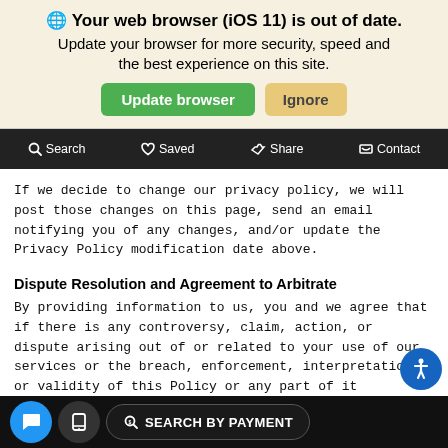[Figure (screenshot): Browser update notification banner with globe icon, bold text 'Your web browser (iOS 11) is out of date.', subtitle 'Update your browser for more security, speed and the best experience on this site.', green 'Update browser' button and orange 'Ignore' button]
[Figure (screenshot): Dark navigation bar with Search, Saved, Share, Contact icons]
If we decide to change our privacy policy, we will post those changes on this page, send an email notifying you of any changes, and/or update the Privacy Policy modification date above.
Dispute Resolution and Agreement to Arbitrate
By providing information to us, you and we agree that if there is any controversy, claim, action, or dispute arising out of or related to your use of our services or the breach, enforcement, interpretation, or validity of this Policy or any part of it ("Dispute"), both parties shall first try in good faith to settle such Dispute by providing written notice
[Figure (screenshot): Bottom bar with blue chat icon, dark phone icon, and 'SEARCH BY PAYMENT' button on black background]